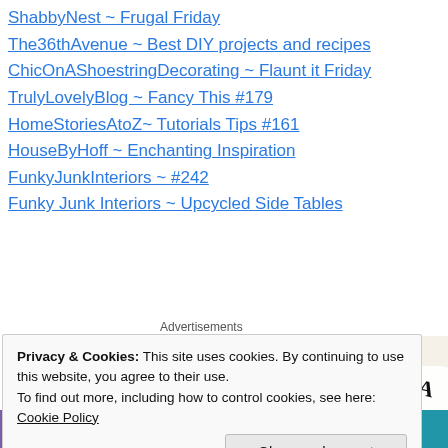ShabbyNest ~ Frugal Friday
The36thAvenue ~ Best DIY projects and recipes
ChicOnAShoestringDecorating ~ Flaunt it Friday
TrulyLovelyBlog ~ Fancy This #179
HomeStoriesAtoZ~ Tutorials Tips #161
HouseByHoff ~ Enchanting Inspiration
FunkyJunkInteriors ~ #242
Funky Junk Interiors ~ Upcycled Side Tables
Advertisements
[Figure (illustration): Advertisement banner with beige background showing text 'Professionally designed sites in less than a week' with decorative card elements on the right side.]
Privacy & Cookies: This site uses cookies. By continuing to use this website, you agree to their use.
To find out more, including how to control cookies, see here: Cookie Policy
Close and accept